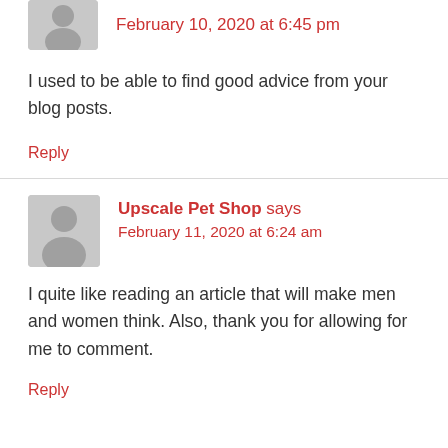February 10, 2020 at 6:45 pm
I used to be able to find good advice from your blog posts.
Reply
Upscale Pet Shop says
February 11, 2020 at 6:24 am
I quite like reading an article that will make men and women think. Also, thank you for allowing for me to comment.
Reply